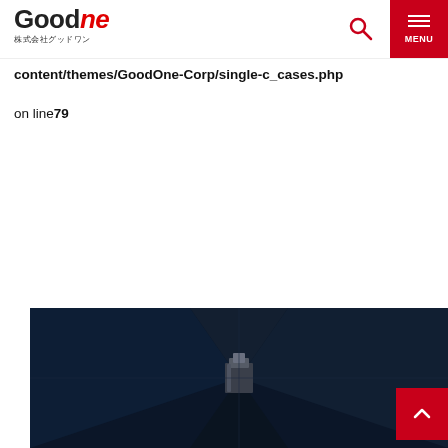GoodOne 株式会社グッドワン
content/themes/GoodOne-Corp/single-c_cases.php
on line79
[Figure (photo): Dark room interior photo showing a corner of walls and ceiling with a metallic/structural element in the center, against a very dark navy background]